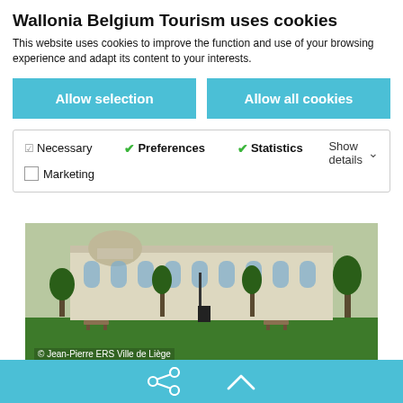Wallonia Belgium Tourism uses cookies
This website uses cookies to improve the function and use of your browsing experience and adapt its content to your interests.
Allow selection
Allow all cookies
Necessary   Preferences   Statistics   Marketing   Show details
[Figure (photo): Exterior view of La Boverie building in Liège, a classical white stone building with arched windows, green lawns and trees]
© Jean-Pierre ERS Ville de Liège
Liège
La Boverie | Prestigious conference venue in